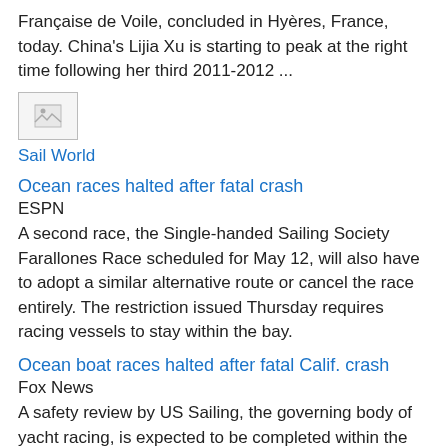Française de Voile, concluded in Hyères, France, today. China's Lijia Xu is starting to peak at the right time following her third 2011-2012 ...
[Figure (photo): Small broken/placeholder image thumbnail]
Sail World
Ocean races halted after fatal crash
ESPN
A second race, the Single-handed Sailing Society Farallones Race scheduled for May 12, will also have to adopt a similar alternative route or cancel the race entirely. The restriction issued Thursday requires racing vessels to stay within the bay.
Ocean boat races halted after fatal Calif. crash
Fox News
A safety review by US Sailing, the governing body of yacht racing, is expected to be completed within the next month. The restriction comes after five crew members of the 38-foot boat Low Speed Chase died when the vessel was hit by waves while rounding ...